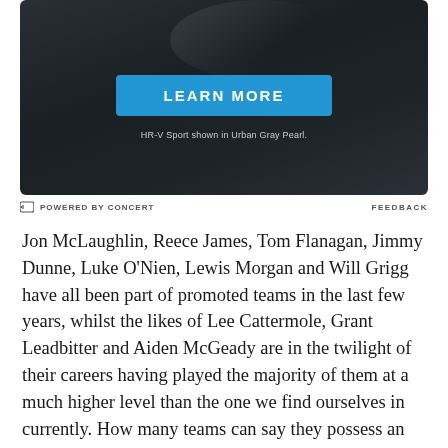[Figure (photo): Dark-themed advertisement banner with a blue 'LEARN MORE' button and tagline 'HR-V Sport shown in Urban Gray Pearl.']
POWERED BY CONCERT   FEEDBACK
Jon McLaughlin, Reece James, Tom Flanagan, Jimmy Dunne, Luke O'Nien, Lewis Morgan and Will Grigg have all been part of promoted teams in the last few years, whilst the likes of Lee Cattermole, Grant Leadbitter and Aiden McGeady are in the twilight of their careers having played the majority of them at a much higher level than the one we find ourselves in currently. How many teams can say they possess an arsenal of players like that?